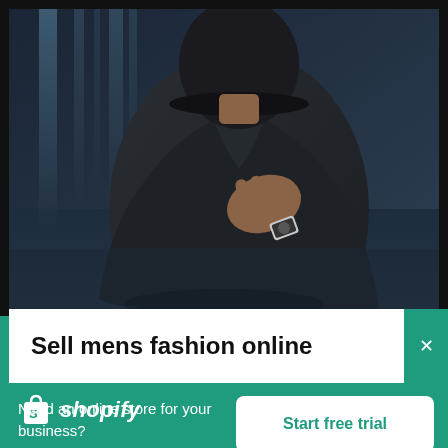[Figure (photo): A man in a dark jacket with hand on chest, wearing a watch, standing against a dark blurred background with light streaks]
Sell mens fashion online →
[Figure (logo): Shopify logo: white shopping bag icon with S and italic shopify text in white]
Need an online store for your business?
Start free trial